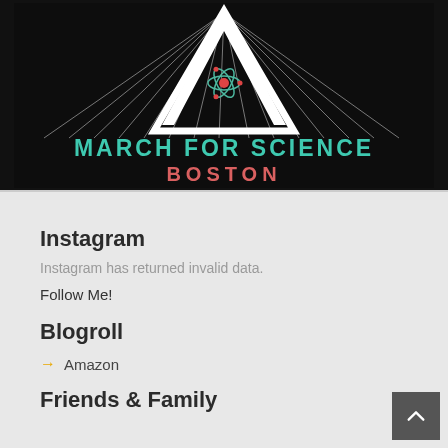[Figure (illustration): March for Science Boston logo on dark/black background. A white triangle/mountain shape with radiating white lines and a small atom icon in the center. Text reads 'MARCH FOR SCIENCE' in teal/cyan letters and 'BOSTON' in pink/red letters below.]
Instagram
Instagram has returned invalid data.
Follow Me!
Blogroll
Amazon
Friends & Family